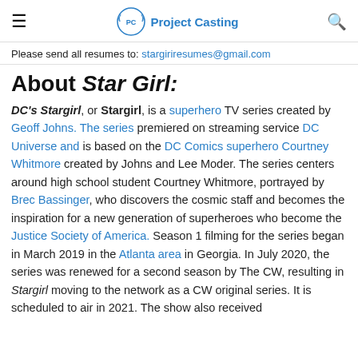Project Casting
Please send all resumes to: stargiriresumes@gmail.com
About Star Girl:
DC's Stargirl, or Stargirl, is a superhero TV series created by Geoff Johns. The series premiered on streaming service DC Universe and is based on the DC Comics superhero Courtney Whitmore created by Johns and Lee Moder. The series centers around high school student Courtney Whitmore, portrayed by Brec Bassinger, who discovers the cosmic staff and becomes the inspiration for a new generation of superheroes who become the Justice Society of America. Season 1 filming for the series began in March 2019 in the Atlanta area in Georgia. In July 2020, the series was renewed for a second season by The CW, resulting in Stargirl moving to the network as a CW original series. It is scheduled to air in 2021. The show also received